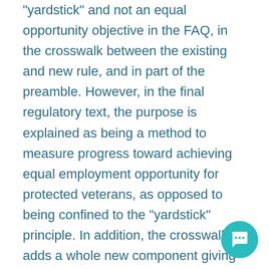“yardstick” and not an equal opportunity objective in the FAQ, in the crosswalk between the existing and new rule, and in part of the preamble. However, in the final regulatory text, the purpose is explained as being a method to measure progress toward achieving equal employment opportunity for protected veterans, as opposed to being confined to the “yardstick” principle. In addition, the crosswalk adds a whole new component giving contractors discretion to apply the benchmark to job groups, when the preamble explains that the appropriate data to make this comparison does not exist